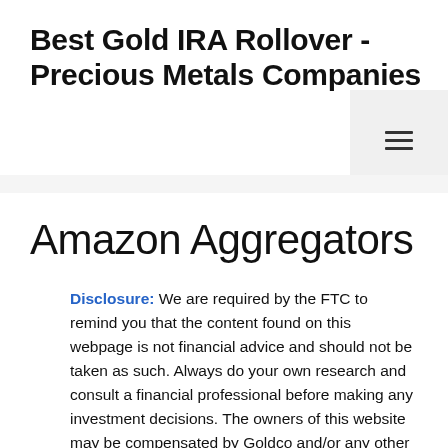Best Gold IRA Rollover - Precious Metals Companies
Amazon Aggregators
Disclosure: We are required by the FTC to remind you that the content found on this webpage is not financial advice and should not be taken as such. Always do your own research and consult a financial professional before making any investment decisions. The owners of this website may be compensated by Goldco and/or any other company to recommend them. The